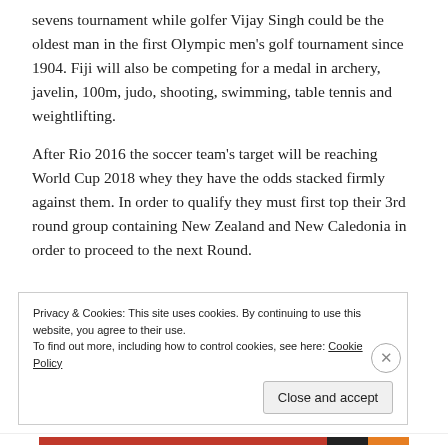sevens tournament while golfer Vijay Singh could be the oldest man in the first Olympic men's golf tournament since 1904. Fiji will also be competing for a medal in archery, javelin, 100m, judo, shooting, swimming, table tennis and weightlifting.
After Rio 2016 the soccer team's target will be reaching World Cup 2018 whey they have the odds stacked firmly against them. In order to qualify they must first top their 3rd round group containing New Zealand and New Caledonia in order to proceed to the next Round.
Privacy & Cookies: This site uses cookies. By continuing to use this website, you agree to their use.
To find out more, including how to control cookies, see here: Cookie Policy
Close and accept